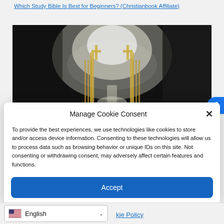Which Study Bible Is Best for Beginners? (Christianbook Affiliate)
[Figure (photo): Dark dramatic image of golden gates with crosses in misty heavenly light, viewed from below]
Manage Cookie Consent
To provide the best experiences, we use technologies like cookies to store and/or access device information. Consenting to these technologies will allow us to process data such as browsing behavior or unique IDs on this site. Not consenting or withdrawing consent, may adversely affect certain features and functions.
Accept
English
kie Policy